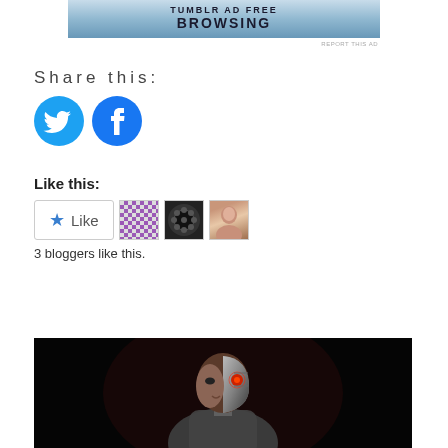[Figure (screenshot): Ad banner with text 'TUMBLR AD FREE BROWSING' on a blue gradient background]
REPORT THIS AD
Share this:
[Figure (illustration): Twitter bird icon in a blue circle]
[Figure (illustration): Facebook 'f' icon in a blue circle]
Like this:
[Figure (screenshot): WordPress Like button widget showing a star icon with the word Like, followed by three blogger avatar thumbnails]
3 bloggers like this.
[Figure (photo): Dark photo of a cyborg character (Cyborg from Justice League) with a metallic half-face and glowing red eye, set against a black background]